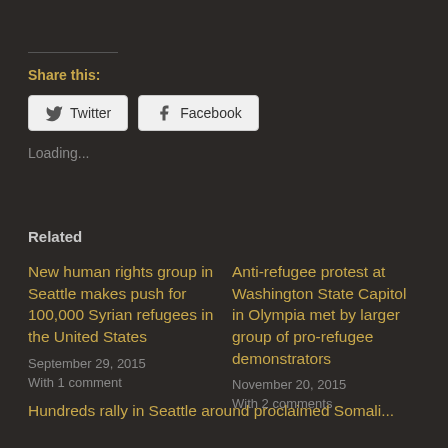Share this:
Twitter | Facebook
Loading...
Related
New human rights group in Seattle makes push for 100,000 Syrian refugees in the United States
September 29, 2015
With 1 comment
Anti-refugee protest at Washington State Capitol in Olympia met by larger group of pro-refugee demonstrators
November 20, 2015
With 2 comments
Hundreds rally in Seattle around proclaimed Somali...